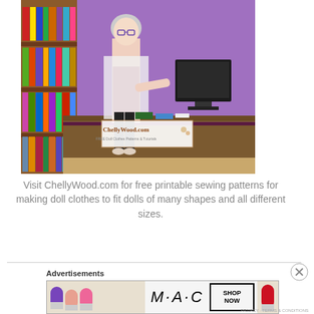[Figure (photo): A doll dressed as a librarian or shopkeeper standing behind a counter with colorful books on shelves, a computer monitor, and a watermark reading ChellyWood.com FREE Doll Clothes Patterns & Tutorials]
Visit ChellyWood.com for free printable sewing patterns for making doll clothes to fit dolls of many shapes and all different sizes.
Advertisements
[Figure (photo): MAC Cosmetics advertisement showing colorful lipsticks with Shop Now button]